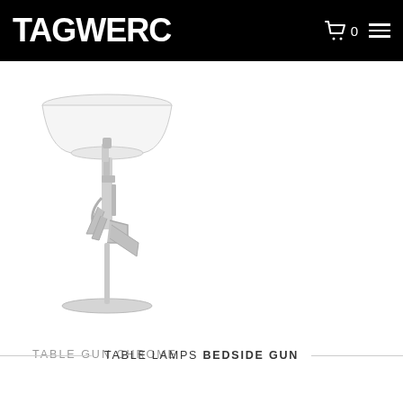TAGWERC
[Figure (photo): A chrome lamp shaped like an AK-47 assault rifle with a white lampshade on top, standing on a circular base. The lamp body is a chrome/silver colored rifle form.]
TABLE GUN CHROME
TABLE LAMPS BEDSIDE GUN